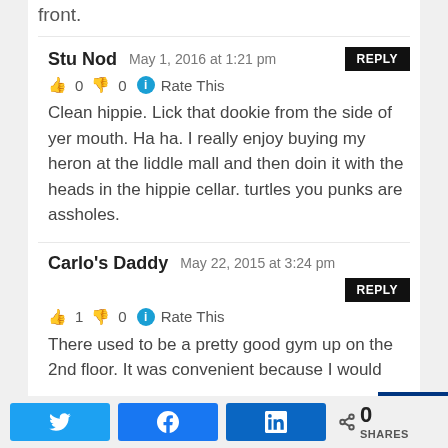front.
Stu Nod   May 1, 2016 at 1:21 pm   [REPLY]
👍 0 👎 0 ℹ Rate This
Clean hippie. Lick that dookie from the side of yer mouth. Ha ha. I really enjoy buying my heron at the liddle mall and then doin it with the heads in the hippie cellar. turtles you punks are assholes.
Carlo's Daddy   May 22, 2015 at 3:24 pm   [REPLY]
👍 1 👎 0 ℹ Rate This
There used to be a pretty good gym up on the 2nd floor. It was convenient because I would